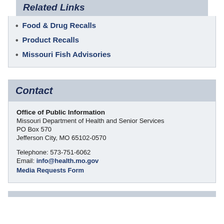Related Links
Food & Drug Recalls
Product Recalls
Missouri Fish Advisories
Contact
Office of Public Information
Missouri Department of Health and Senior Services
PO Box 570
Jefferson City, MO 65102-0570

Telephone: 573-751-6062
Email: info@health.mo.gov
Media Requests Form